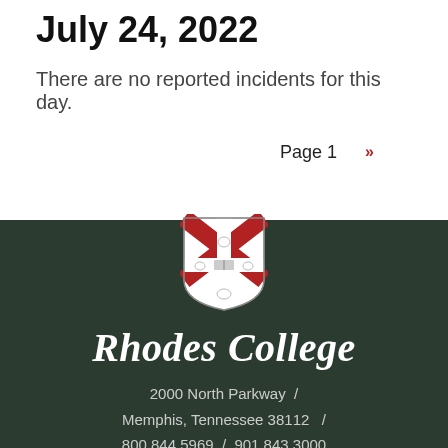July 24, 2022
There are no reported incidents for this day.
Page 1  »
[Figure (logo): Rhodes College shield logo with red X cross and open book]
Rhodes College
2000 North Parkway  /  Memphis, Tennessee 38112  /  800.844.5969  /  901.843.3000